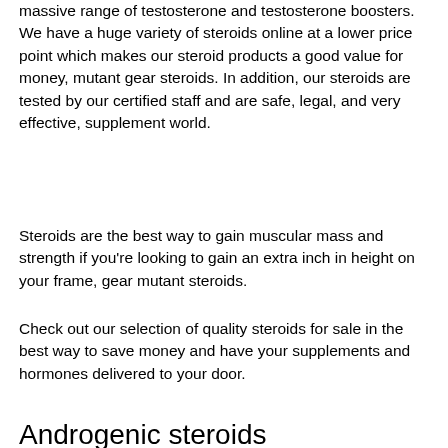massive range of testosterone and testosterone boosters. We have a huge variety of steroids online at a lower price point which makes our steroid products a good value for money, mutant gear steroids. In addition, our steroids are tested by our certified staff and are safe, legal, and very effective, supplement world.
Steroids are the best way to gain muscular mass and strength if you're looking to gain an extra inch in height on your frame, gear mutant steroids.
Check out our selection of quality steroids for sale in the best way to save money and have your supplements and hormones delivered to your door.
Androgenic steroids